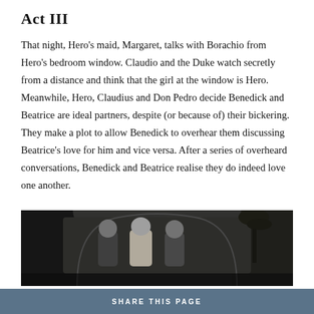Act III
That night, Hero's maid, Margaret, talks with Borachio from Hero's bedroom window. Claudio and the Duke watch secretly from a distance and think that the girl at the window is Hero. Meanwhile, Hero, Claudius and Don Pedro decide Benedick and Beatrice are ideal partners, despite (or because of) their bickering. They make a plot to allow Benedick to overhear them discussing Beatrice's love for him and vice versa. After a series of overheard conversations, Benedick and Beatrice realise they do indeed love one another.
[Figure (photo): Black and white theatrical photo showing three male actors on stage in a garden-like set with arches and palm trees in the background]
SHARE THIS PAGE